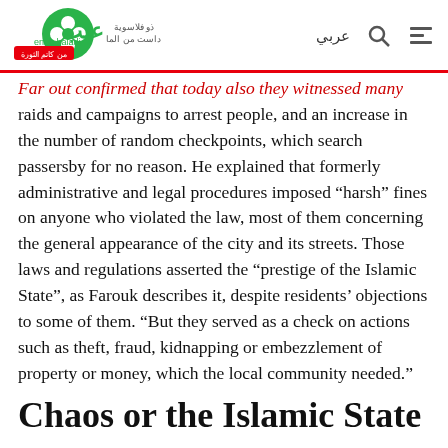Enab Baladi logo header with Arabic navigation
raids and campaigns to arrest people, and an increase in the number of random checkpoints, which search passersby for no reason. He explained that formerly administrative and legal procedures imposed "harsh" fines on anyone who violated the law, most of them concerning the general appearance of the city and its streets. Those laws and regulations asserted the "prestige of the Islamic State", as Farouk describes it, despite residents' objections to some of them. "But they served as a check on actions such as theft, fraud, kidnapping or embezzlement of property or money, which the local community needed."
Chaos or the Islamic State